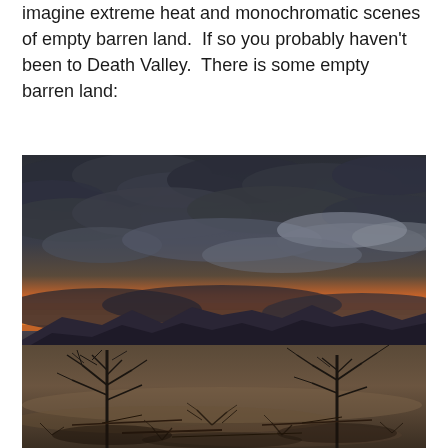imagine extreme heat and monochromatic scenes of empty barren land.  If so you probably haven't been to Death Valley.  There is some empty barren land:
[Figure (photo): A dramatic desert landscape at sunset in Death Valley. The foreground shows dry, barren earth covered with dead brush, twigs, and skeletal dead trees. In the middle ground, dark mountain silhouettes are visible. The horizon glows with vivid orange and red sunset colors. The sky is filled with dramatic dark storm clouds with lighter patches.]